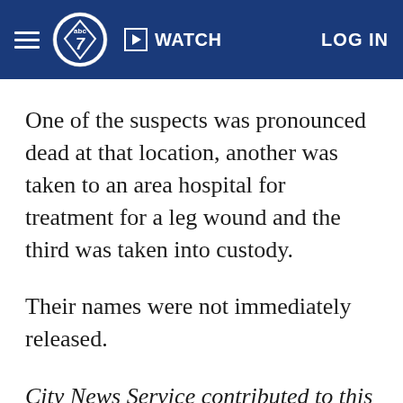ABC7 Navigation — WATCH | LOG IN
One of the suspects was pronounced dead at that location, another was taken to an area hospital for treatment for a leg wound and the third was taken into custody.
Their names were not immediately released.
City News Service contributed to this report.